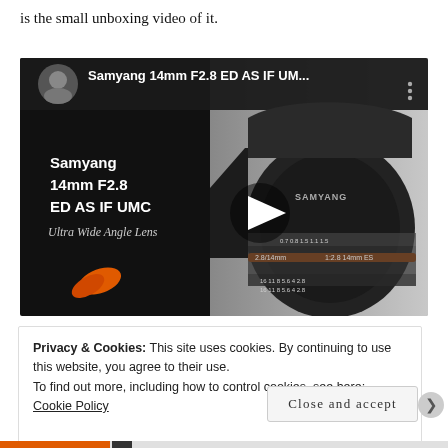is the small unboxing video of it.
[Figure (screenshot): YouTube video thumbnail showing Samyang 14mm F2.8 ED AS IF UMC Ultra Wide Angle Lens unboxing video. Left panel is black with text 'Samyang 14mm F2.8 ED AS IF UMC Ultra Wide Angle Lens' and an orange logo. Right panel shows the lens product image on grey background with a play button overlay. Top shows channel avatar and video title 'Samyang 14mm F2.8 ED AS IF UM...']
Privacy & Cookies: This site uses cookies. By continuing to use this website, you agree to their use.
To find out more, including how to control cookies, see here: Cookie Policy